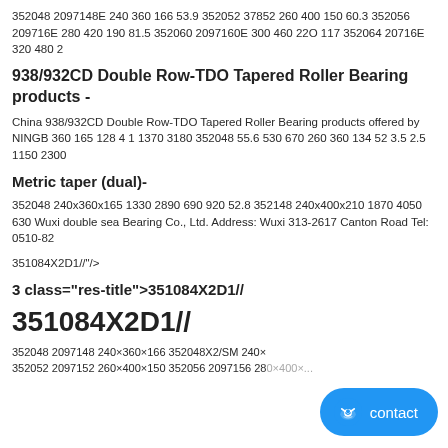352048 2097148E 240 360 166 53.9 352052 37852 260 400 150 60.3 352056 209716E 280 420 190 81.5 352060 2097160E 300 460 22O 117 352064 20716E 320 480 2
938/932CD Double Row-TDO Tapered Roller Bearing products -
China 938/932CD Double Row-TDO Tapered Roller Bearing products offered by NINGB 360 165 128 4 1 1370 3180 352048 55.6 530 670 260 360 134 52 3.5 2.5 1150 2300
Metric taper (dual)-
352048 240x360x165 1330 2890 690 920 52.8 352148 240x400x210 1870 4050 630 Wuxi double sea Bearing Co., Ltd. Address: Wuxi 313-2617 Canton Road Tel: 0510-82
351084X2D1//"/>
3 class="res-title">351084X2D1//
351084X2D1//
352048 2097148 240×360×166 352048X2/SM 240× 352052 2097152 260×400×150 352056 2097156 280×400×... 352060 2097160 300×460×...